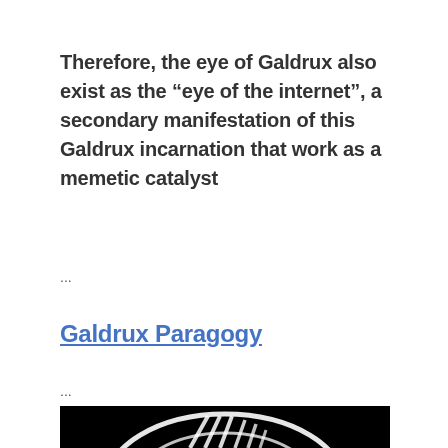Therefore, the eye of Galdrux also exist as the “eye of the internet”, a secondary manifestation of this Galdrux incarnation that work as a memetic catalyst
...
Galdrux Paragogy
...
[Figure (illustration): Black and white illustration showing a circular eye-like symbol with white curved lines and diagonal streaks on a black background, partially cropped at bottom of page.]